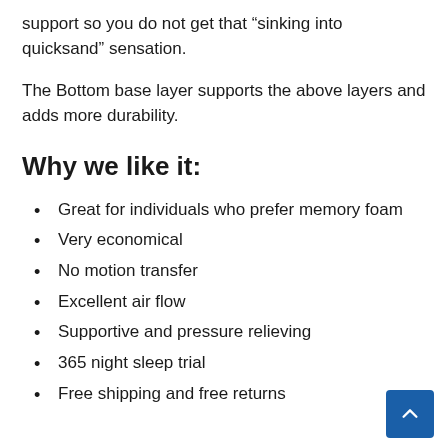support so you do not get that “sinking into quicksand” sensation.
The Bottom base layer supports the above layers and adds more durability.
Why we like it:
Great for individuals who prefer memory foam
Very economical
No motion transfer
Excellent air flow
Supportive and pressure relieving
365 night sleep trial
Free shipping and free returns